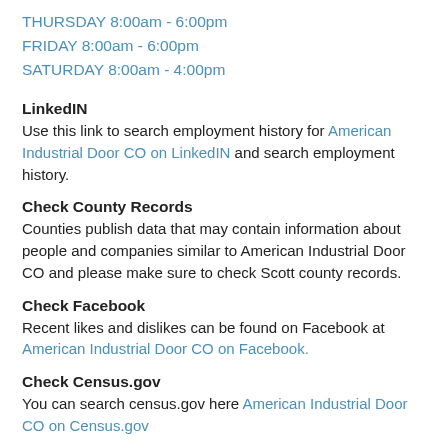THURSDAY 8:00am - 6:00pm
FRIDAY 8:00am - 6:00pm
SATURDAY 8:00am - 4:00pm
LinkedIN
Use this link to search employment history for American Industrial Door CO on LinkedIN and search employment history.
Check County Records
Counties publish data that may contain information about people and companies similar to American Industrial Door CO and please make sure to check Scott county records.
Check Facebook
Recent likes and dislikes can be found on Facebook at American Industrial Door CO on Facebook.
Check Census.gov
You can search census.gov here American Industrial Door CO on Census.gov
Check out Twitter
Please visit Twitter for the most recent updates and more information.